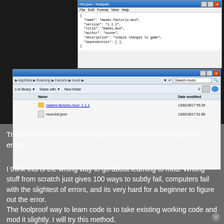[Figure (screenshot): Two Windows screenshots: a Notepad window showing JSON mod info file contents, and a Windows Explorer window showing the AppData Roaming Factorio mods folder with two files: maemi-factorio-mod_1.1.1 folder and mod-list.json]
Tried to run factorio with the guide mod template but got this error.
I think this is the wrong way to go about learning to mod. Writing stuff from scratch just gives 100 ways to subtly fail, computers fail with the slightest of errors, and its very hard for a beginner to figure out the error.
The foolproof way to learn code is to take existing working code and mod it slightly. I will try this method.